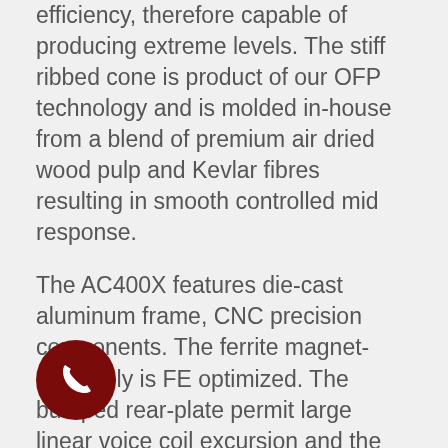efficiency, therefore capable of producing extreme levels. The stiff ribbed cone is product of our OFP technology and is molded in-house from a blend of premium air dried wood pulp and Kevlar fibres resulting in smooth controlled mid response.
The AC400X features die-cast aluminum frame, CNC precision components. The ferrite magnet-assembly is FE optimized. The bumped rear-plate permit large linear voice coil excursion and the shaped pole improves BL linearity. The aluminum shorting ring lowers distortion improves stability and enhances heat dissipation from the voice-coil. Wind noise is reduced with an undercut and vented pole-piece.
[Figure (illustration): Dark red circular phone/call button icon in bottom-left corner]